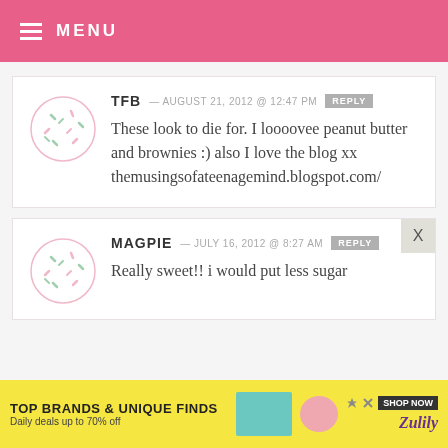MENU
TFB — AUGUST 21, 2012 @ 12:47 PM   REPLY

These look to die for. I loooovee peanut butter and brownies :) also I love the blog xx themusingsofateenagemind.blogspot.com/
MAGPIE — JULY 16, 2012 @ 8:27 AM   REPLY

Really sweet!! i would put less sugar
[Figure (infographic): Advertisement banner: TOP BRANDS & UNIQUE FINDS, Daily deals up to 70% off, SHOP NOW button, Zulily branding]